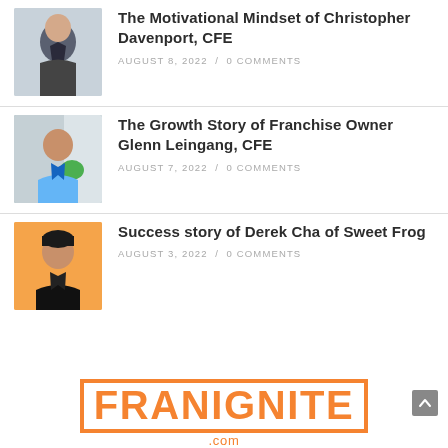[Figure (photo): Headshot of Christopher Davenport, man in suit]
The Motivational Mindset of Christopher Davenport, CFE
AUGUST 8, 2022 /  0 COMMENTS
[Figure (photo): Headshot of Glenn Leingang, man in casual shirt in office setting]
The Growth Story of Franchise Owner Glenn Leingang, CFE
AUGUST 7, 2022 /  0 COMMENTS
[Figure (photo): Headshot of Derek Cha on orange background]
Success story of Derek Cha of Sweet Frog
AUGUST 3, 2022 /  0 COMMENTS
[Figure (logo): FranIgnite.com logo in orange block letters]